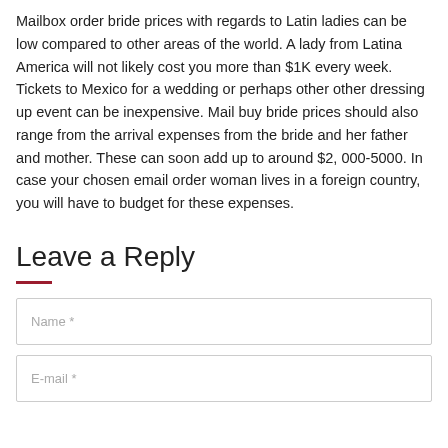Mailbox order bride prices with regards to Latin ladies can be low compared to other areas of the world. A lady from Latina America will not likely cost you more than $1K every week. Tickets to Mexico for a wedding or perhaps other other dressing up event can be inexpensive. Mail buy bride prices should also range from the arrival expenses from the bride and her father and mother. These can soon add up to around $2, 000-5000. In case your chosen email order woman lives in a foreign country, you will have to budget for these expenses.
Leave a Reply
Name *
E-mail *